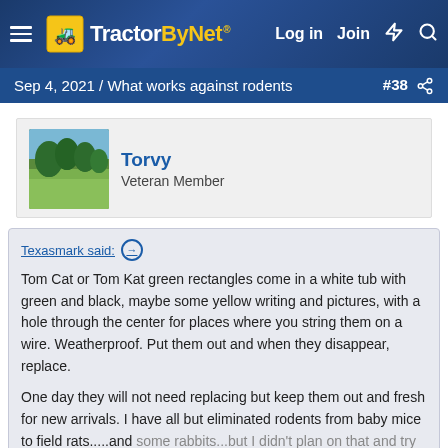TractorByNet — Log in | Join
Sep 4, 2021 / What works against rodents #38
Torvy
Veteran Member
Texasmark said:
Tom Cat or Tom Kat green rectangles come in a white tub with green and black, maybe some yellow writing and pictures, with a hole through the center for places where you string them on a wire. Weatherproof. Put them out and when they disappear, replace.

One day they will not need replacing but keep them out and fresh for new arrivals. I have all but eliminated rodents from baby mice to field rats.....and some rabbits...but I didn't plan on that and try to put them where rabbits can't get to them.

Click to expand